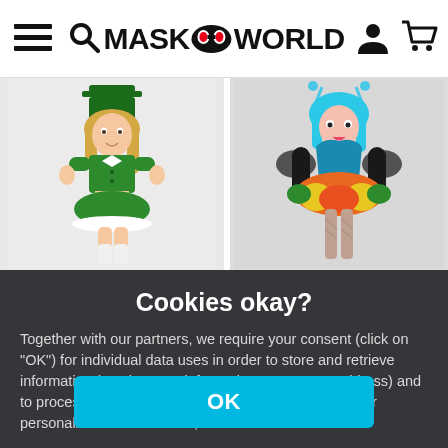MASK WORLD — navigation header with hamburger menu, search, logo, user and cart icons
[Figure (photo): Woman in green leprechaun costume with green top hat, green jacket, short green skirt with white trim, white knee-high socks]
[Figure (photo): Woman in butterfly fairy costume with blue wig, blue and black top, colorful tutu skirt in orange/yellow/green, black arm covers, blue antennae]
Cookies okay?
Together with our partners, we require your consent (click on "OK") for individual data uses in order to store and retrieve information (e.g. browser information, user ID, IP address) and to process it or have it processed. The data usage is for personalised functionalities, content and ads
OK